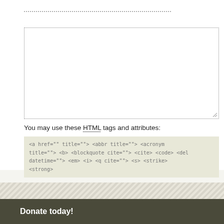Comment
You may use these HTML tags and attributes:
<a href="" title=""> <abbr title=""> <acronym title=""> <b> <blockquote cite=""> <cite> <code> <del datetime=""> <em> <i> <q cite=""> <s> <strike> <strong>
Post Comment
Donate today!